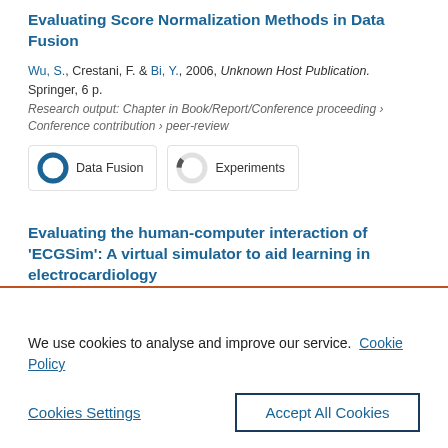Evaluating Score Normalization Methods in Data Fusion
Wu, S., Crestani, F. & Bi, Y., 2006, Unknown Host Publication. Springer, 6 p.
Research output: Chapter in Book/Report/Conference proceeding › Conference contribution › peer-review
[Figure (infographic): Two badges: 'Data Fusion' with 100% filled donut chart icon, and 'Experiments' with ~11% filled donut chart icon]
Evaluating the human-computer interaction of 'ECGSim': A virtual simulator to aid learning in electrocardiology
We use cookies to analyse and improve our service.  Cookie Policy
Cookies Settings    Accept All Cookies